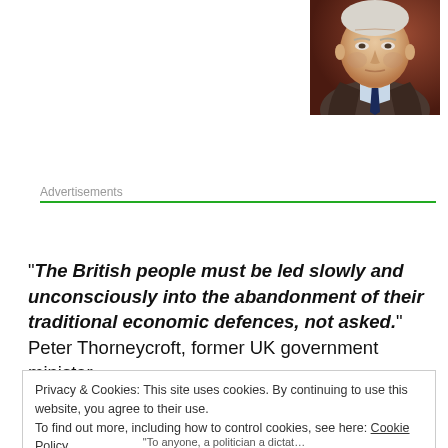[Figure (photo): Portrait photo of Peter Thorneycroft, an elderly white male in a suit with a blue tie, painted-style portrait with dark reddish-brown background]
Advertisements
“The British people must be led slowly and unconsciously into the abandonment of their traditional economic defences, not asked.” Peter Thorneycroft, former UK government minister.
Privacy & Cookies: This site uses cookies. By continuing to use this website, you agree to their use.
To find out more, including how to control cookies, see here: Cookie Policy
Close and accept
“To anyone, a politician a dictat...